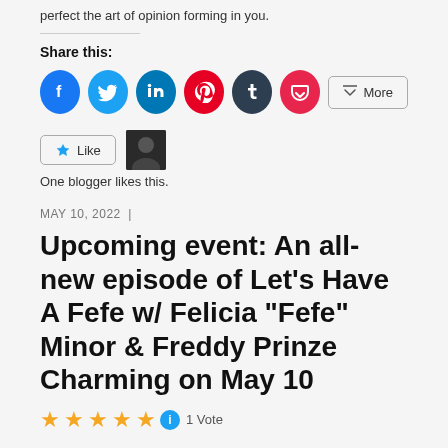perfect the art of opinion forming in you.
Share this:
[Figure (infographic): Social share buttons: Facebook (blue circle), Twitter (light blue circle), LinkedIn (blue circle), Pinterest (red circle), Tumblr (dark navy circle), Pocket (pink/red circle), and a More button]
[Figure (infographic): Like button with star icon, and a small blogger avatar thumbnail]
One blogger likes this.
MAY 10, 2022 |
Upcoming event: An all-new episode of Let’s Have A Fefe w/ Felicia “Fefe” Minor & Freddy Prinze Charming on May 10
[Figure (infographic): Five gold stars rating with info circle icon and '1 Vote' text]